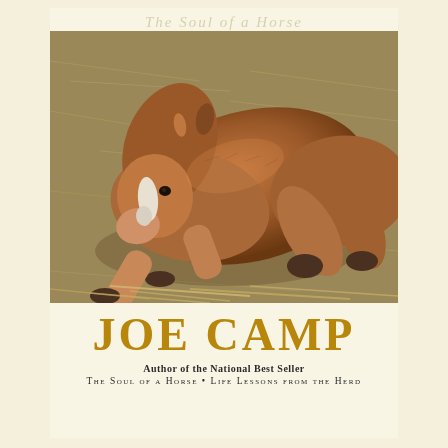The Soul of a Horse
[Figure (photo): A young brown foal with a white blaze lying down on hay/straw, photographed from above at an angle. The foal has its head lowered and legs folded beneath it.]
JOE CAMP
Author of the National Best Seller
The Soul of a Horse · Life Lessons from the Herd